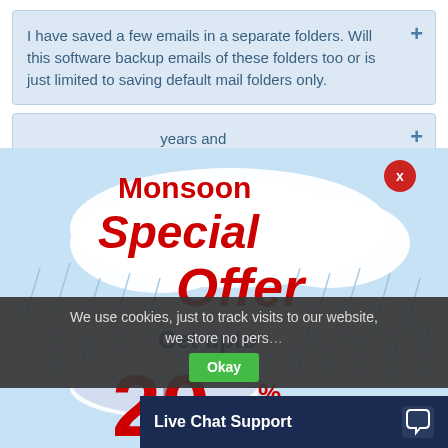I have saved a few emails in a separate folders. Will this software backup emails of these folders too or is just limited to saving default mail folders only.
...years and sized saving errors?
[Figure (infographic): Monsoon Special Offer advertisement overlay showing clouds, rain, umbrella, and text: Monsoon Special Offer. Get upto 20% OFF]
We use cookies, just to track visits to our website, we store no pers...
Live Chat Support